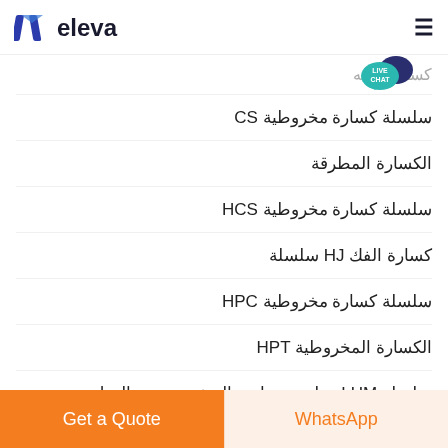eleva
كسارة حريه
سلسلة كسارة مخروطية CS
الكسارة المطرقة
سلسلة كسارة مخروطية HCS
كسارة الفك HJ سلسلة
سلسلة كسارة مخروطية HPC
الكسارة المخروطية HPT
سلسلة LUM مطحنة متناهية الصغر عمودي الرول
Get a Quote | WhatsApp